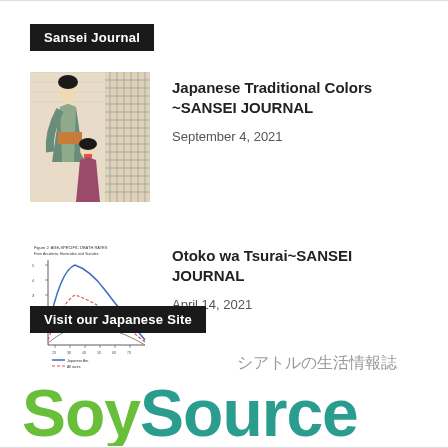Sansei Journal
[Figure (illustration): Japanese woodblock print thumbnail showing two women in traditional kimono]
Japanese Traditional Colors ~SANSEI JOURNAL
September 4, 2021
[Figure (continuous-plot): Small line chart thumbnail showing declining curves, likely demographic or statistical data related to Otoko wa Tsurai article]
Otoko wa Tsurai~SANSEI JOURNAL
April 14, 2021
Visit our Japanese Site
[Figure (logo): SoySource logo with Japanese tagline シアトルの生活情報誌 — green 'Soy' and teal 'Source' text]